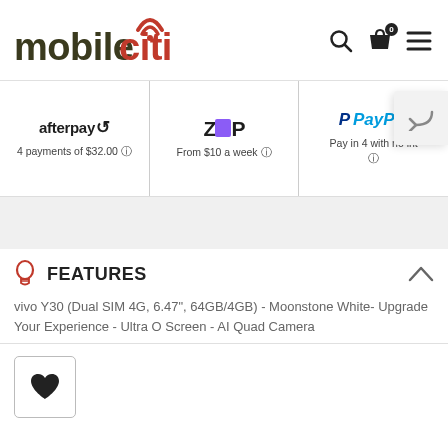[Figure (logo): mobileciti logo with signal/wifi icon in red above the letter i]
[Figure (infographic): Header icons: search magnifier, shopping bag with 0 count, hamburger menu]
[Figure (infographic): Afterpay logo with text: 4 payments of $32.00]
[Figure (infographic): Zip logo with purple rectangle, text: From $10 a week]
[Figure (infographic): PayPal logo, text: Pay in 4 with no int...]
[Figure (infographic): Gray banner bar]
FEATURES
vivo Y30 (Dual SIM 4G, 6.47", 64GB/4GB) - Moonstone White- Upgrade Your Experience - Ultra O Screen - AI Quad Camera
[Figure (other): Wishlist heart button in a bordered square box]